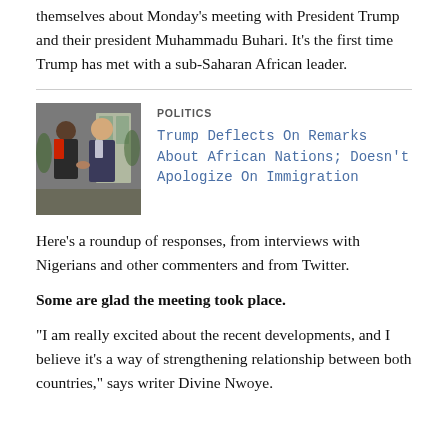themselves about Monday's meeting with President Trump and their president Muhammadu Buhari. It's the first time Trump has met with a sub-Saharan African leader.
[Figure (photo): Photo of two men shaking hands outdoors, one in a suit, one in a traditional outfit]
POLITICS
Trump Deflects On Remarks About African Nations; Doesn't Apologize On Immigration
Here's a roundup of responses, from interviews with Nigerians and other commenters and from Twitter.
Some are glad the meeting took place.
"I am really excited about the recent developments, and I believe it's a way of strengthening relationship between both countries," says writer Divine Nwoye.